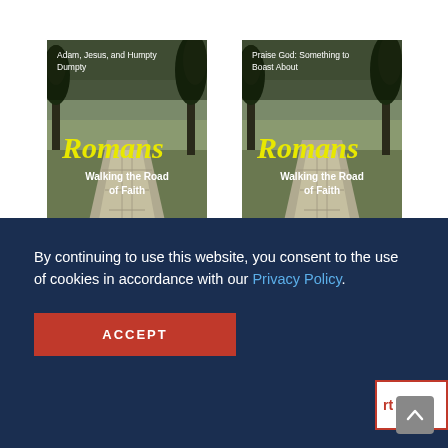[Figure (illustration): Book cover for Romans: Walking the Road of Faith – Adam, Jesus, and Humpty Dumpty. Shows a stone road with trees on a landscape background. Title 'Romans' in yellow italic text, subtitle 'Walking the Road of Faith' in white.]
Romans: Walking the Road of Faith
Adam, Jesus, and...
[Figure (illustration): Book cover for Romans: Walking the Road of Faith – Praise God: Something to Boast About. Same stone road background. Title 'Romans' in yellow italic, subtitle 'Walking the Road of Faith' in white.]
Romans: Walking the Road of Faith
Praise God: ...o Boast
By continuing to use this website, you consent to the use of cookies in accordance with our Privacy Policy.
ACCEPT